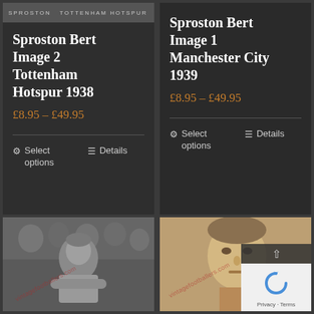[Figure (photo): Vintage football card image header showing 'SPROSTON TOTTENHAM HOTSPUR' text in small caps on dark background]
Sproston Bert Image 2 Tottenham Hotspur 1938
£8.95 – £49.95
⚙ Select options   ☰ Details
Sproston Bert Image 1 Manchester City 1939
£8.95 – £49.95
⚙ Select options   ☰ Details
[Figure (photo): Black and white vintage photo of Bert Sproston footballer with arms crossed in football kit, watermark 'vintagefootballers.com' overlaid diagonally]
[Figure (photo): Sepia toned vintage close-up photo of Bert Sproston, watermark 'vintagefootballers.com' overlaid diagonally, reCAPTCHA and Privacy/Terms overlay visible in bottom right]